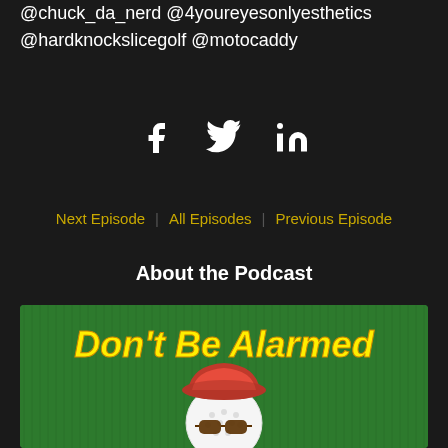@chuck_da_nerd @4youreyesonlyesthetics @hardknockslicegolf @motocaddy
[Figure (infographic): Social media icons: Facebook, Twitter, LinkedIn in white on dark background]
Next Episode   All Episodes   Previous Episode
About the Podcast
[Figure (illustration): Don't Be Alarmed podcast logo: yellow italic bold text on green background with cartoon golf ball character wearing red bucket hat and sunglasses]